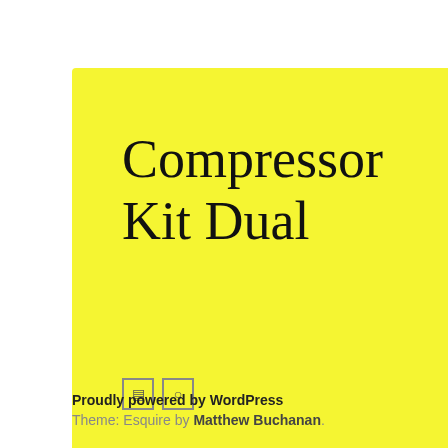Compressor Kit Dual
[Figure (illustration): Yellow speech bubble containing the title 'Compressor Kit Dual', two small icon boxes (RSS and search), and a black horizontal bar]
Proudly powered by WordPress
Theme: Esquire by Matthew Buchanan.
boxm...
brand...
bringi...
broute...
brush...
budge...
build...
cadilla...
carmo...
chassi...
cheap...
chevy...
choos...
coilov...
comp...
compl...
compl...